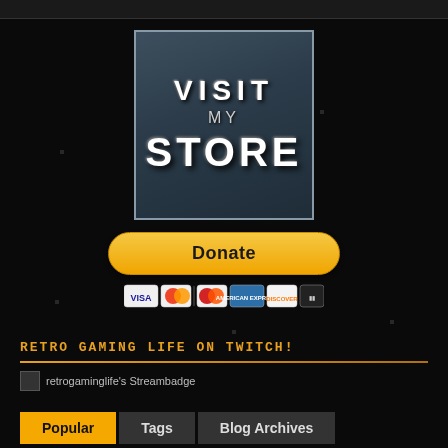[Figure (logo): Visit My Store badge — dark teal square with white text reading VISIT MY STORE]
[Figure (infographic): PayPal Donate button (yellow pill shape) with payment card icons (Visa, Mastercard, Discover, Amex, etc.) below]
RETRO GAMING LIFE ON TWITCH!
[Figure (screenshot): retrogaminglife's Streambadge — small broken image icon with alt text]
Popular | Tags | Blog Archives